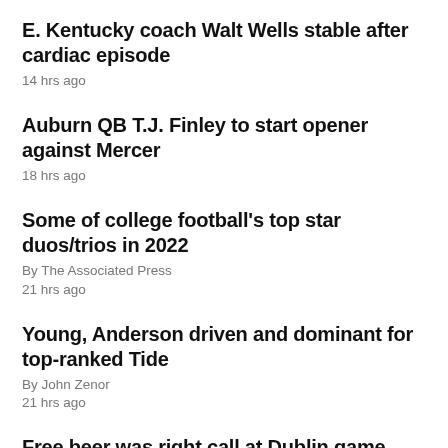E. Kentucky coach Walt Wells stable after cardiac episode
14 hrs ago
Auburn QB T.J. Finley to start opener against Mercer
18 hrs ago
Some of college football's top star duos/trios in 2022
By The Associated Press
21 hrs ago
Young, Anderson driven and dominant for top-ranked Tide
By John Zenor
21 hrs ago
Free beer was right call at Dublin game says catering firm
By Ken Maguire
24 hrs ago